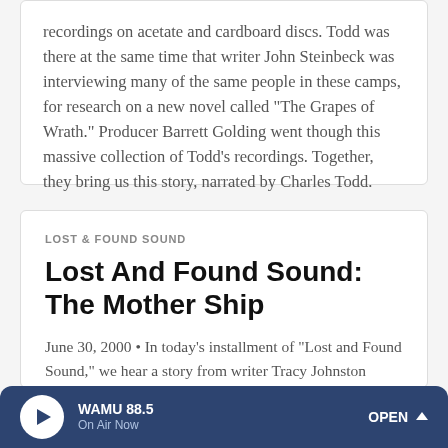recordings on acetate and cardboard discs. Todd was there at the same time that writer John Steinbeck was interviewing many of the same people in these camps, for research on a new novel called "The Grapes of Wrath." Producer Barrett Golding went though this massive collection of Todd's recordings. Together, they bring us this story, narrated by Charles Todd.
LOST & FOUND SOUND
Lost And Found Sound: The Mother Ship
June 30, 2000 • In today's installment of "Lost and Found Sound," we hear a story from writer Tracy Johnston about a sound she collected years ago while traveling in Africa.
[Figure (other): Blue pill-shaped button with play icon and text LISTEN · 7:17]
WAMU 88.5 · On Air Now · OPEN